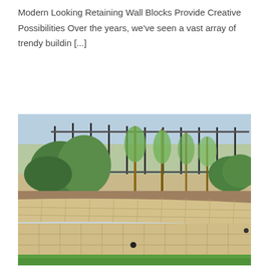Modern Looking Retaining Wall Blocks Provide Creative Possibilities Over the years, we've seen a vast array of trendy buildin [...]
[Figure (photo): Photograph of a landscaped backyard featuring a curved tan concrete block retaining wall with green shrubs and young trees planted behind it, a metal fence in the background, and a green lawn in the foreground.]